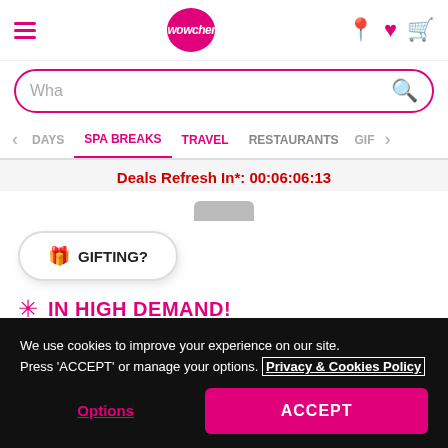Wowcher navigation bar with hamburger menu, logo, location pin, heart, and cart icons
Wha (search input placeholder)
DAYS  SPA BREAKS  TRAVEL  RESTAURANTS  GIF
Deals Refresh In*: 00:06:06:13
GIFTING?
IN HIGH DEMAND!
3 others have already bought this deal today!
We use cookies to improve your experience on our site. Press 'ACCEPT' or manage your options. Privacy & Cookies Policy
Options
ACCEPT